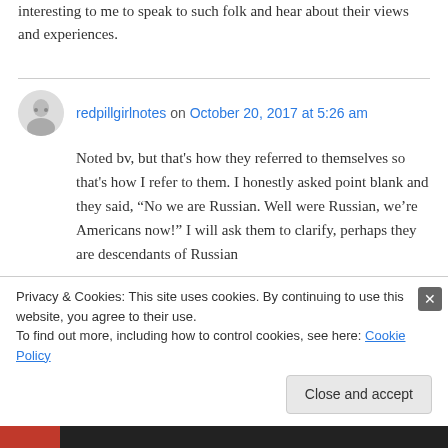interesting to me to speak to such folk and hear about their views and experiences.
redpillgirlnotes on October 20, 2017 at 5:26 am
Noted bv, but that's how they referred to themselves so that's how I refer to them. I honestly asked point blank and they said, “No we are Russian. Well were Russian, we’re Americans now!” I will ask them to clarify, perhaps they are descendants of Russian
Privacy & Cookies: This site uses cookies. By continuing to use this website, you agree to their use.
To find out more, including how to control cookies, see here: Cookie Policy
Close and accept